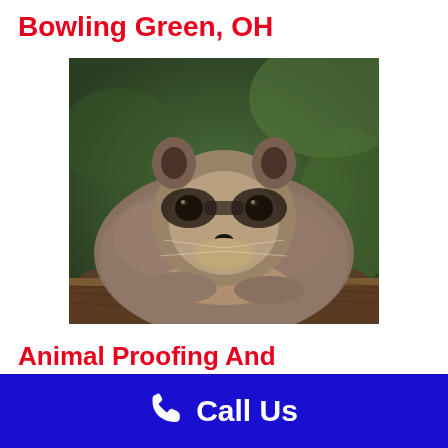Bowling Green, OH
[Figure (photo): A raccoon resting its chin on a wooden surface, looking at the camera with dark masked eyes, photographed against a blurred green background.]
Animal Proofing And Raccoon Damage Repair
Call Us